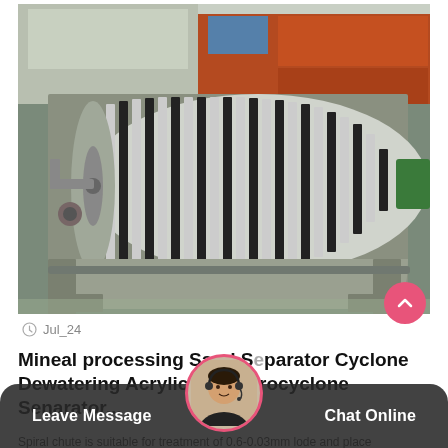[Figure (photo): Industrial magnetic drum separator machine (gray metal drum with alternating dark/light stripes on a gray frame/trough) photographed outdoors in a yard with stacked orange/blue containers in the background.]
Jul_24
Mineal processing Sand Separator Cyclone Dewatering Acrylic FX Hydrocyclone Senarator...
Spiral chute is suitable for treatment of 0.6-0.03mm lode and placer
[Figure (photo): Customer service avatar: woman wearing headset, circular crop with pink border.]
Leave Message
Chat Online